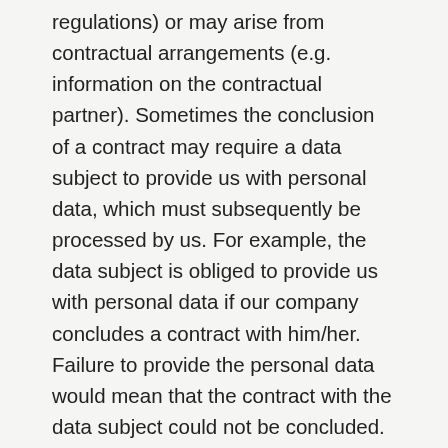regulations) or may arise from contractual arrangements (e.g. information on the contractual partner). Sometimes the conclusion of a contract may require a data subject to provide us with personal data, which must subsequently be processed by us. For example, the data subject is obliged to provide us with personal data if our company concludes a contract with him/her. Failure to provide the personal data would mean that the contract with the data subject could not be concluded. Before the data subject provides personal data, the data subject must contact one of our employees. Our employee informs the data subject on a case-by-case basis whether the provision of the personal